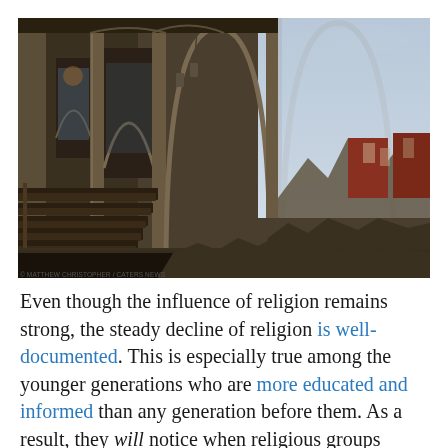[Figure (photo): Interior of a ruined Gothic church with stone arched columns and wooden pews on the left side, while the right side of the building is completely destroyed and open to the sky, showing rubble and debris on the floor and red-brick buildings visible through the open wall.]
© MATTHEW CHRISTOPHER / CATERS NEWS
Even though the influence of religion remains strong, the steady decline of religion is well-documented. This is especially true among the younger generations who are more educated and informed than any generation before them. As a result, they will notice when religious groups